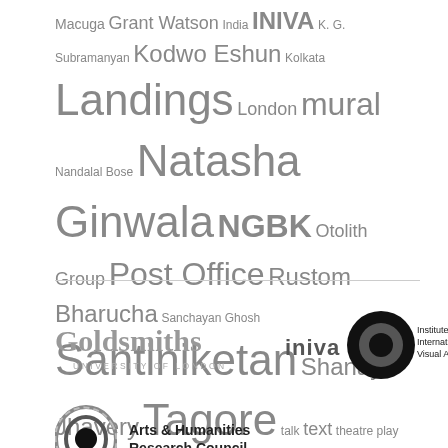Macuga Grant Watson India INIVA K. G. Subramanyan Kodwo Eshun Kolkata Landings London mural Nandalal Bose Natasha Ginwala NGBK Otolith Group Post Office Rustom Bharucha Sanchayan Ghosh Santiniketan Shanay Jhavery Tagore talk text theatre play Visva Bharati Vivian Ziherl Wendelien van Oldenborgh workshop 1 Workshop 2 Workshop 3 workshop 4
[Figure (logo): Goldsmiths University of London logo]
[Figure (logo): iniva Institute of International Visual Arts logo]
[Figure (logo): Arts & Humanities Research Council logo]